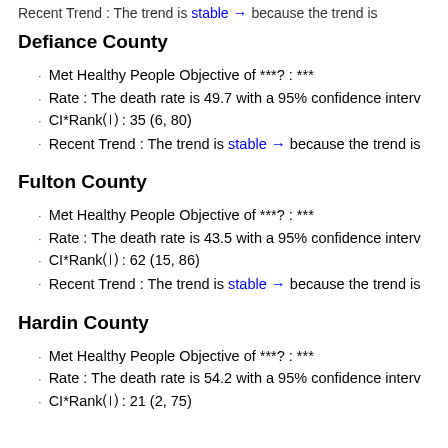Recent Trend : The trend is stable → because the trend is
Defiance County
Met Healthy People Objective of ***? : ***
Rate : The death rate is 49.7 with a 95% confidence interv
CI*Rankⓗ : 35 (6, 80)
Recent Trend : The trend is stable → because the trend is
Fulton County
Met Healthy People Objective of ***? : ***
Rate : The death rate is 43.5 with a 95% confidence interv
CI*Rankⓗ : 62 (15, 86)
Recent Trend : The trend is stable → because the trend is
Hardin County
Met Healthy People Objective of ***? : ***
Rate : The death rate is 54.2 with a 95% confidence interv
CI*Rankⓗ : 21 (2, 75)